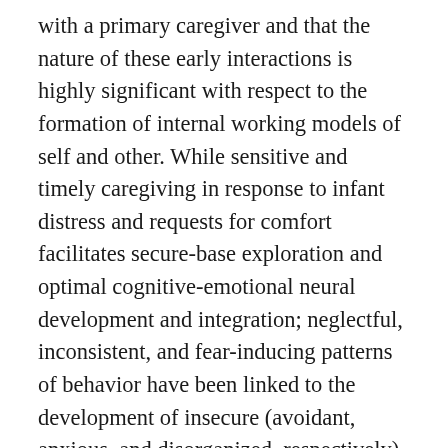with a primary caregiver and that the nature of these early interactions is highly significant with respect to the formation of internal working models of self and other. While sensitive and timely caregiving in response to infant distress and requests for comfort facilitates secure-base exploration and optimal cognitive-emotional neural development and integration; neglectful, inconsistent, and fear-inducing patterns of behavior have been linked to the development of insecure (avoidant, anxious, and disorganized, respectively) attachment schemas. Insecure attachment is thought to leave an individual vulnerable to a variety of psychopathologies (Mikulincer & Shaver, 2012); in the case of disorganization, these include serious disturbances